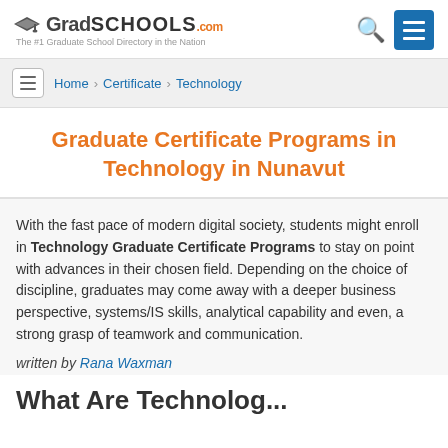GradSchools.com — The #1 Graduate School Directory in the Nation
Home > Certificate > Technology
Graduate Certificate Programs in Technology in Nunavut
With the fast pace of modern digital society, students might enroll in Technology Graduate Certificate Programs to stay on point with advances in their chosen field. Depending on the choice of discipline, graduates may come away with a deeper business perspective, systems/IS skills, analytical capability and even, a strong grasp of teamwork and communication.
written by Rana Waxman
What Are Technology Graduat...